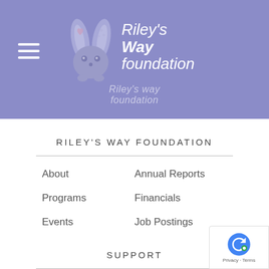[Figure (logo): Riley's Way Foundation logo: bunny with heart ears and text 'Riley's Way foundation' on purple/lavender header background]
RILEY'S WAY FOUNDATION
About
Annual Reports
Programs
Financials
Events
Job Postings
SUPPORT
FAQ
Terms of Use
Contact Us
Privacy Policy